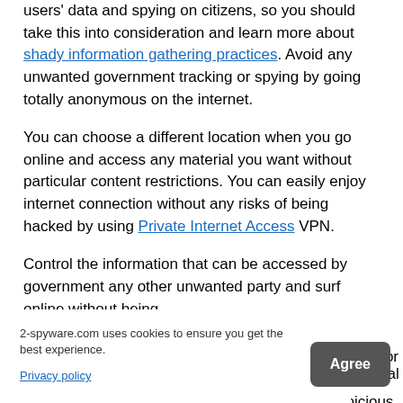users' data and spying on citizens, so you should take this into consideration and learn more about shady information gathering practices. Avoid any unwanted government tracking or spying by going totally anonymous on the internet.
You can choose a different location when you go online and access any material you want without particular content restrictions. You can easily enjoy internet connection without any risks of being hacked by using Private Internet Access VPN.
Control the information that can be accessed by government any other unwanted party and surf online without being [...]gal activities or [...] suspicious for [...] easures by
2-spyware.com uses cookies to ensure you get the best experience.
Privacy policy